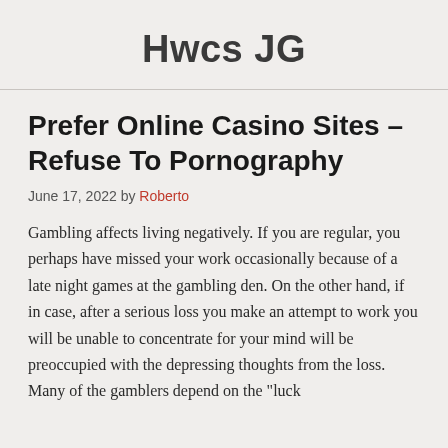Hwcs JG
Prefer Online Casino Sites – Refuse To Pornography
June 17, 2022 by Roberto
Gambling affects living negatively. If you are regular, you perhaps have missed your work occasionally because of a late night games at the gambling den. On the other hand, if in case, after a serious loss you make an attempt to work you will be unable to concentrate for your mind will be preoccupied with the depressing thoughts from the loss. Many of the gamblers depend on the "luck